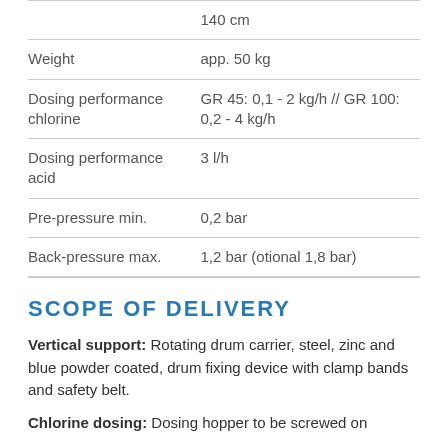| Property | Value |
| --- | --- |
|  | 140 cm |
| Weight | app. 50 kg |
| Dosing performance chlorine | GR 45: 0,1 - 2 kg/h // GR 100: 0,2 - 4 kg/h |
| Dosing performance acid | 3 l/h |
| Pre-pressure min. | 0,2 bar |
| Back-pressure max. | 1,2 bar (otional 1,8 bar) |
SCOPE OF DELIVERY
Vertical support: Rotating drum carrier, steel, zinc and blue powder coated, drum fixing device with clamp bands and safety belt.
Chlorine dosing: Dosing hopper to be screwed on